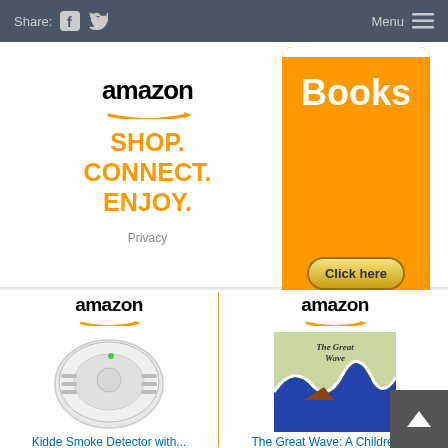Share: [facebook] [twitter]   Menu ☰
[Figure (advertisement): Amazon advertisement with logo and text: SHOP. CONNECT. ENJOY. Privacy]
[Figure (advertisement): Orange Books advertisement with Click here button and Privacy Information text]
[Figure (advertisement): Amazon product ad showing a Kidde Smoke Detector with image]
Kidde Smoke Detector with...
[Figure (advertisement): Amazon product ad showing The Great Wave: A Children's book cover]
The Great Wave: A Children's...